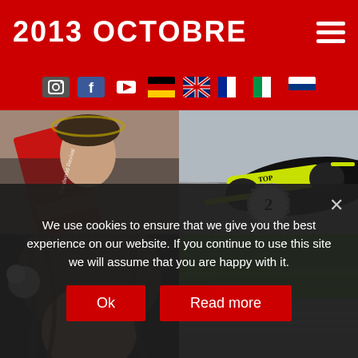2013 OCTOBRE
[Figure (screenshot): Social media icons (Instagram, Facebook, YouTube) and country flag icons (Germany, UK, France, Italy, Russia) on red navigation bar]
[Figure (photo): Racing driver wearing red sash/ribbon with laurel wreath, celebrating a win]
[Figure (photo): Black and yellow Formula racing car with 'TOP SPEED' branding, number 2 badge overlay]
[Figure (photo): Close-up of a person with long brown hair, partial face visible]
[Figure (photo): Racing track with green grass and grey tarmac, blurred motion]
We use cookies to ensure that we give you the best experience on our website. If you continue to use this site we will assume that you are happy with it.
Ok
Read more